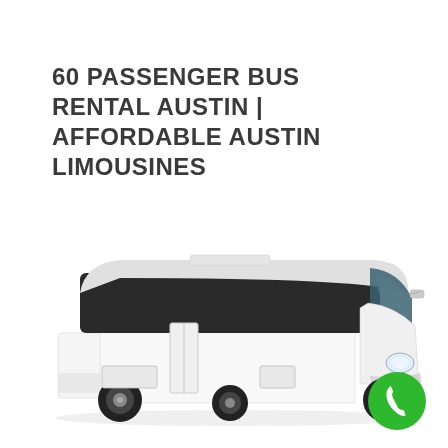60 PASSENGER BUS RENTAL AUSTIN | AFFORDABLE AUSTIN LIMOUSINES
[Figure (photo): A large white luxury coach bus photographed on a white background, shown from a three-quarter front angle. The bus has dark tinted windows along the top portion, white body panels, and large black wheels.]
[Figure (illustration): A green circular phone call button icon with a white telephone handset symbol in the center, positioned in the lower right corner.]